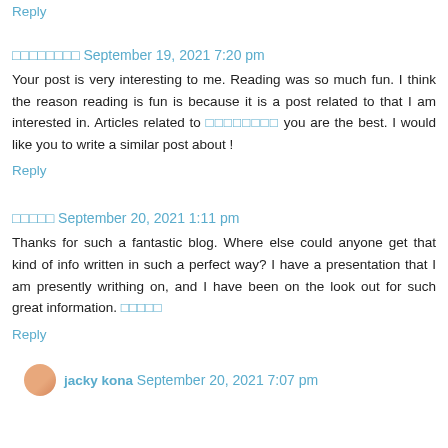Reply
🔲🔲🔲🔲🔲🔲🔲🔲 September 19, 2021 7:20 pm
Your post is very interesting to me. Reading was so much fun. I think the reason reading is fun is because it is a post related to that I am interested in. Articles related to 🔲🔲🔲🔲🔲🔲🔲🔲 you are the best. I would like you to write a similar post about !
Reply
🔲🔲🔲🔲🔲 September 20, 2021 1:11 pm
Thanks for such a fantastic blog. Where else could anyone get that kind of info written in such a perfect way? I have a presentation that I am presently writhing on, and I have been on the look out for such great information. 🔲🔲🔲🔲🔲
Reply
jacky kona  September 20, 2021 7:07 pm